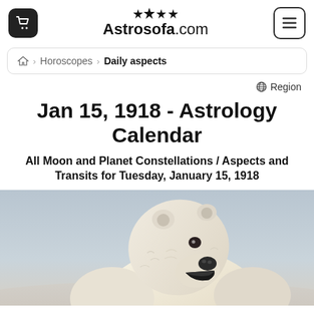Astrosofa.com
Horoscopes > Daily aspects
Region
Jan 15, 1918 - Astrology Calendar
All Moon and Planet Constellations / Aspects and Transits for Tuesday, January 15, 1918
[Figure (photo): Polar bear looking upward with mouth open, photographed against a pale grey-blue arctic background]